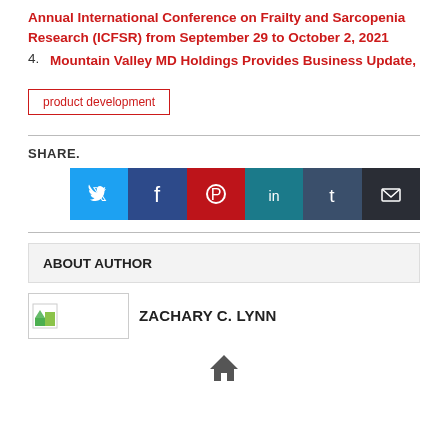Annual International Conference on Frailty and Sarcopenia Research (ICFSR) from September 29 to October 2, 2021
4. Mountain Valley MD Holdings Provides Business Update,
product development
SHARE.
[Figure (other): Social media share icons: Twitter (blue), Facebook (dark blue), Pinterest (red), LinkedIn (teal), Tumblr (dark blue-grey), Email (dark)]
ABOUT AUTHOR
[Figure (photo): Author profile image placeholder with small green/white icon]
ZACHARY C. LYNN
[Figure (other): Home icon]